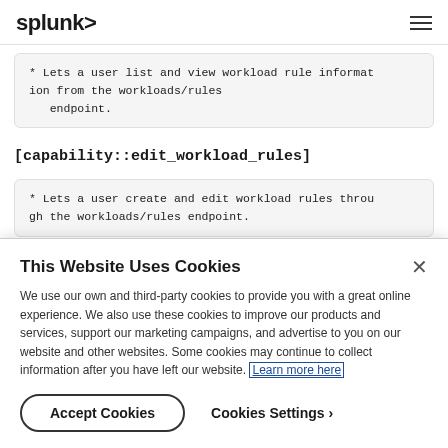splunk>
* Lets a user list and view workload rule information from the workloads/rules endpoint.
[capability::edit_workload_rules]
* Lets a user create and edit workload rules through the workloads/rules endpoint.
This Website Uses Cookies
We use our own and third-party cookies to provide you with a great online experience. We also use these cookies to improve our products and services, support our marketing campaigns, and advertise to you on our website and other websites. Some cookies may continue to collect information after you have left our website. Learn more here
Accept Cookies
Cookies Settings ›